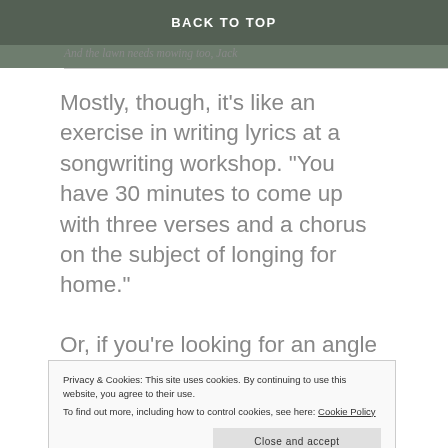[Figure (photo): Partial image of landscape/aerial view with dark overlay and 'BACK TO TOP' navigation button]
And the lawn needs mowing too, Jack
Mostly, though, it's like an exercise in writing lyrics at a songwriting workshop. “You have 30 minutes to come up with three verses and a chorus on the subject of longing for home.”
Or, if you’re looking for an angle for a
Privacy & Cookies: This site uses cookies. By continuing to use this website, you agree to their use.
To find out more, including how to control cookies, see here: Cookie Policy
forward Don Henley of the Eagles for the